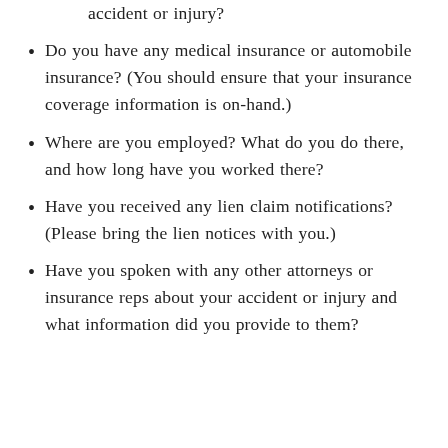accident or injury?
Do you have any medical insurance or automobile insurance? (You should ensure that your insurance coverage information is on-hand.)
Where are you employed? What do you do there, and how long have you worked there?
Have you received any lien claim notifications? (Please bring the lien notices with you.)
Have you spoken with any other attorneys or insurance reps about your accident or injury and what information did you provide to them?